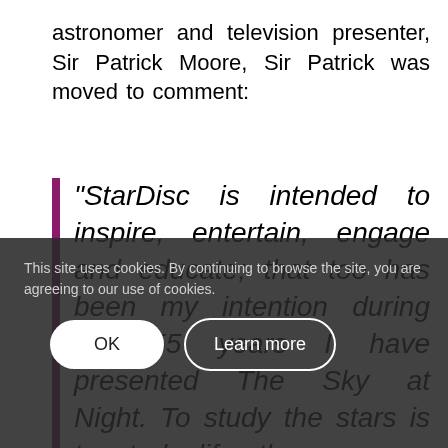astronomer and television presenter, Sir Patrick Moore, Sir Patrick was moved to comment:
“StarDisc is intended to inspire, entertain, engage and educate; that too has been my intention during the 55 years I have presented The Sky at Night. To study the stars is to study life, the more we understand the stars, the more we understand ourselves… Congratulations to
This site uses cookies. By continuing to browse the site, you are agreeing to our use of cookies.
OK
Learn more